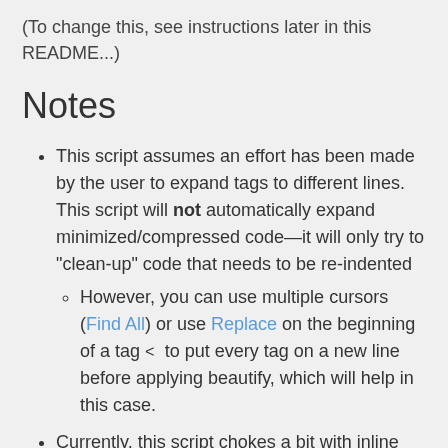(To change this, see instructions later in this README...)
Notes
This script assumes an effort has been made by the user to expand tags to different lines. This script will not automatically expand minimized/compressed code—it will only try to "clean-up" code that needs to be re-indented
However, you can use multiple cursors (Find All) or use Replace on the beginning of a tag <  to put every tag on a new line before applying beautify, which will help in this case.
Currently, this script chokes a bit with inline comments.
For example:
<div class="something">